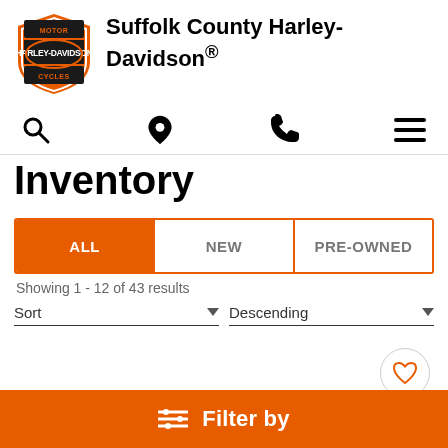[Figure (logo): Harley-Davidson Motor Cycles orange shield logo]
Suffolk County Harley-Davidson®
[Figure (infographic): Navigation icons: search magnifier, location pin, phone, hamburger menu]
Inventory
ALL | NEW | PRE-OWNED tab bar with ALL selected
Showing 1 - 12 of 43 results
Sort   Descending
[Figure (infographic): Heart/favorite button circle icon]
Filter by